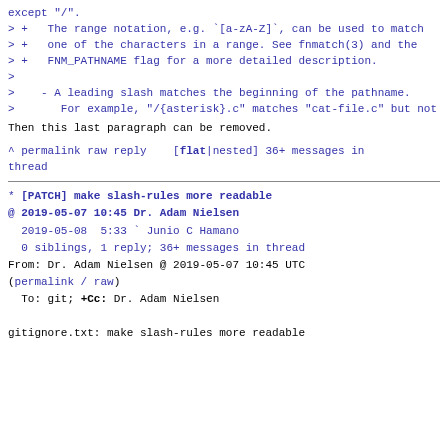except "/".
> +   The range notation, e.g. `[a-zA-Z]`, can be used to match
> +   one of the characters in a range. See fnmatch(3) and the
> +   FNM_PATHNAME flag for a more detailed description.
>
>    - A leading slash matches the beginning of the pathname.
>       For example, "/{asterisk}.c" matches "cat-file.c" but not
Then this last paragraph can be removed.
^ permalink raw reply   [flat|nested] 36+ messages in thread
* [PATCH] make slash-rules more readable
@ 2019-05-07 10:45 Dr. Adam Nielsen
  2019-05-08  5:33 ` Junio C Hamano
  0 siblings, 1 reply; 36+ messages in thread
From: Dr. Adam Nielsen @ 2019-05-07 10:45 UTC
(permalink / raw)
  To: git; +Cc: Dr. Adam Nielsen

gitignore.txt: make slash-rules more readable